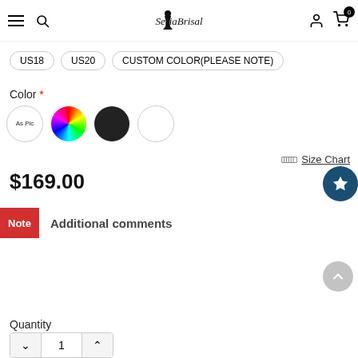SeriaBridal navigation header with hamburger menu, search, logo, user icon, cart (0)
US18
US20
CUSTOM COLOR(PLEASE NOTE)
Color *
[Figure (other): Four color swatches: As Pic (circle with text), rainbow color wheel, black circle, white circle]
Size Chart
$169.00
Note Additional comments
Quantity
1